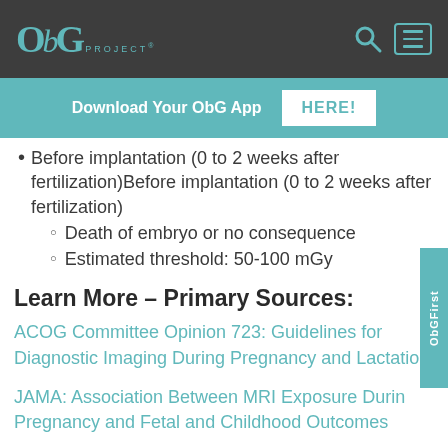OBG PROJECT® [nav bar with search and menu icons]
Download Your ObG App HERE!
Before implantation (0 to 2 weeks after fertilization)
Death of embryo or no consequence
Estimated threshold: 50-100 mGy
Learn More – Primary Sources:
ACOG Committee Opinion 723: Guidelines for Diagnostic Imaging During Pregnancy and Lactation
JAMA: Association Between MRI Exposure During Pregnancy and Fetal and Childhood Outcomes